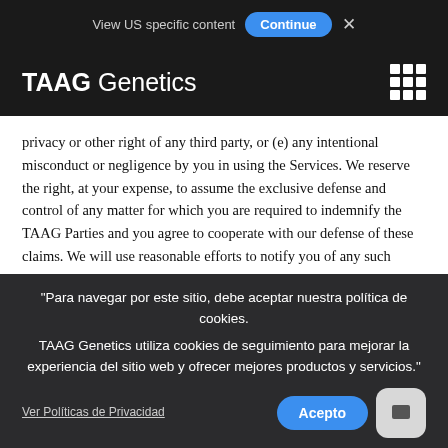View US specific content  Continue  ×
TAAG Genetics
privacy or other right of any third party, or (e) any intentional misconduct or negligence by you in using the Services. We reserve the right, at your expense, to assume the exclusive defense and control of any matter for which you are required to indemnify the TAAG Parties and you agree to cooperate with our defense of these claims. We will use reasonable efforts to notify you of any such claim, action or proceeding upon
"Para navegar por este sitio, debe aceptar nuestra política de cookies.
TAAG Genetics utiliza cookies de seguimiento para mejorar la experiencia del sitio web y ofrecer mejores productos y servicios."
Ver Políticas de Privacidad   Acepto